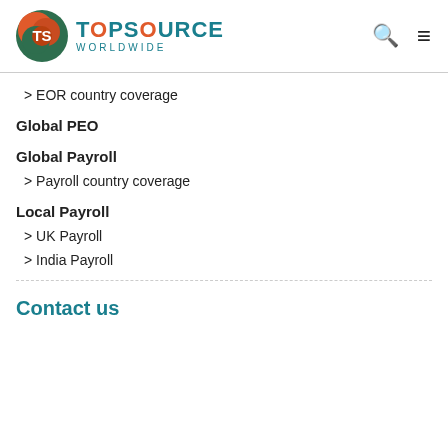[Figure (logo): TopSource Worldwide logo with TS icon and teal/orange wordmark]
> EOR country coverage
Global PEO
Global Payroll
> Payroll country coverage
Local Payroll
> UK Payroll
> India Payroll
Contact us